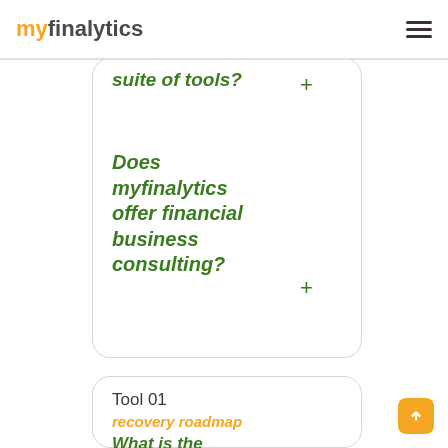myfinalytics
suite of tools? +
Does myfinalytics offer financial business consulting? +
Tool 01
recovery roadmap
What is the